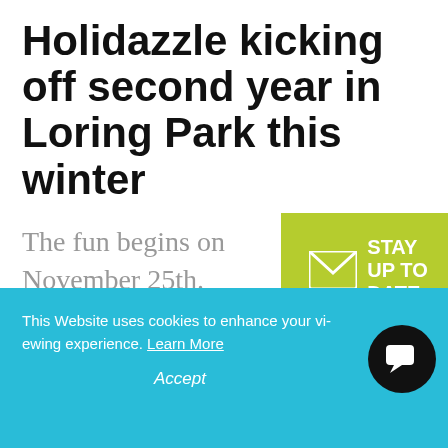Holidazzle kicking off second year in Loring Park this winter
The fun begins on November 25th.
[Figure (infographic): Green badge/banner with envelope icon and text 'STAY UP TO DATE']
November 2, 2016
[Figure (infographic): Share bar with Facebook, Twitter, and email icons]
This Website uses cookies to enhance your viewing experience. Learn More
Accept